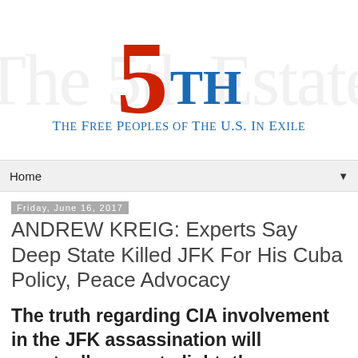[Figure (logo): The 5th Estate logo — large red '5' with blue 'TH' superscript and blue subtitle 'The Free Peoples of The U.S. In Exile']
Home ▼
Friday, June 16, 2017
ANDREW KREIG: Experts Say Deep State Killed JFK For His Cuba Policy, Peace Advocacy
The truth regarding CIA involvement in the JFK assassination will eventually come to light; the American public and Congress must